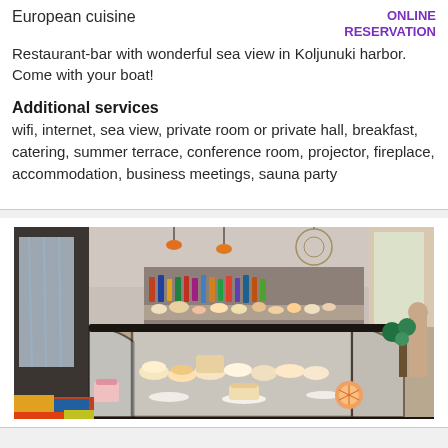European cuisine
ONLINE RESERVATION
Restaurant-bar with wonderful sea view in Koljunuki harbor. Come with your boat!
Additional services
wifi, internet, sea view, private room or private hall, breakfast, catering, summer terrace, conference room, projector, fireplace, accommodation, business meetings, sauna party
[Figure (photo): Interior of a restaurant/cafe with a large glass display case filled with pastries, cakes and desserts. Bar shelves with bottles visible in background. Colorful floor visible in foreground. Warm pendant lighting.]